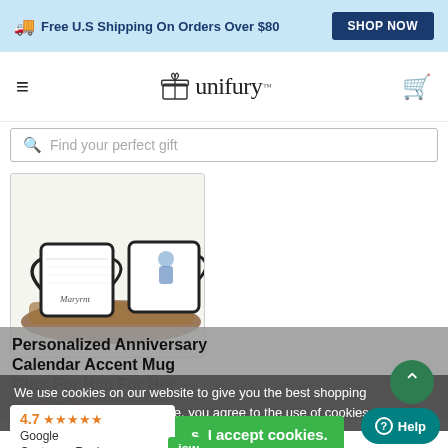Free U.S Shipping On Orders Over $80  SHOP NOW
[Figure (logo): Unifury logo with gift box icon and cart icon, hamburger menu]
Find your perfect gift
[Figure (photo): Personalized anniversary calendar accent mug product photo showing two mugs on a wooden tray]
Personalized Anniversary Calendar Accent Mug Gifts For Him For Her
from $24.65
We use cookies on our website to give you the best shopping experience. By using our site, you agree to the use of cookies.
s, I accept cookies.
iew
4.7 ★★★★★ Google Customer Reviews
Help